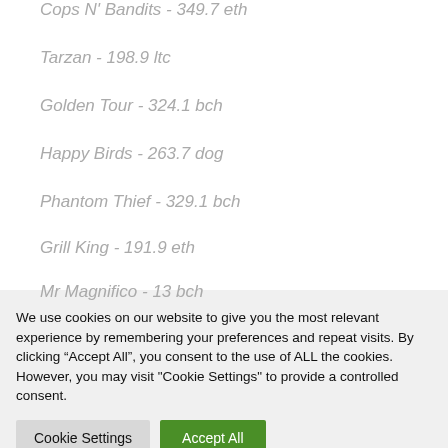Cops N' Bandits - 349.7 eth
Tarzan - 198.9 ltc
Golden Tour - 324.1 bch
Happy Birds - 263.7 dog
Phantom Thief - 329.1 bch
Grill King - 191.9 eth
Mr Magnifico - 13 bch
We use cookies on our website to give you the most relevant experience by remembering your preferences and repeat visits. By clicking “Accept All”, you consent to the use of ALL the cookies. However, you may visit "Cookie Settings" to provide a controlled consent.